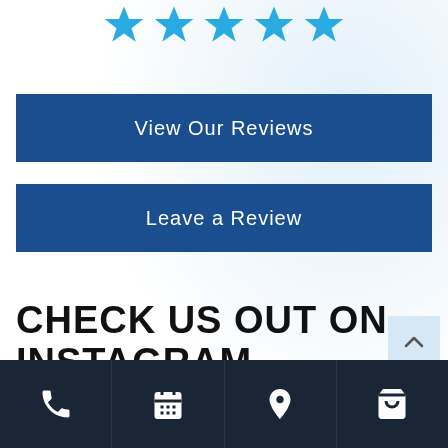[Figure (illustration): Five blue star icons in a row at the top of the page]
View Our Reviews
Leave a Review
CHECK US OUT ON INSTAGRAM
[Figure (infographic): Back to top button with upward chevron arrow]
[Figure (infographic): Footer navigation bar with phone, calendar, location pin, and shopping cart icons]